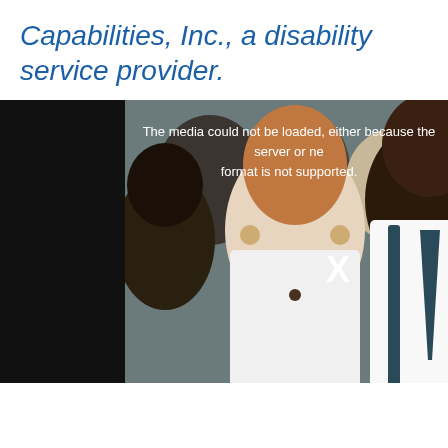Capabilities, Inc., a disability service provider.
[Figure (photo): Group photo of diverse people smiling, with a media player error overlay. The left side is dark/black. The error message reads: 'The media could not be loaded, either because the server or ne... format is not supported.' with an X close button visible.]